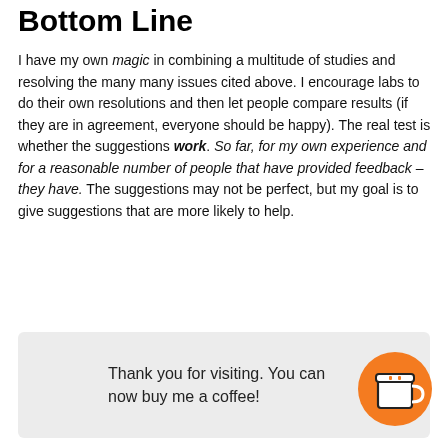Bottom Line
I have my own magic in combining a multitude of studies and resolving the many many issues cited above. I encourage labs to do their own resolutions and then let people compare results (if they are in agreement, everyone should be happy). The real test is whether the suggestions work. So far, for my own experience and for a reasonable number of people that have provided feedback – they have. The suggestions may not be perfect, but my goal is to give suggestions that are more likely to help.
Thank you for visiting. You can now buy me a coffee!